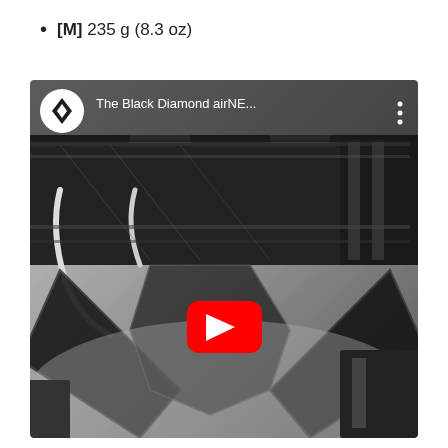[M] 235 g (8.3 oz)
[Figure (screenshot): YouTube video thumbnail showing a Black Diamond climbing harness in black and white. The video title reads 'The Black Diamond airNE...' with the YouTube play button overlay in red. The Black Diamond logo (a diamond shape with two overlapping diamonds) appears in a white circle in the top-left of the video player.]